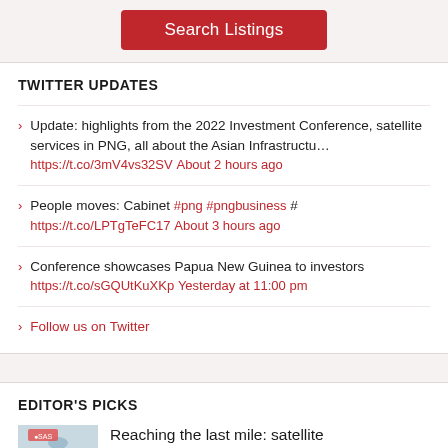[Figure (other): Red 'Search Listings' button]
TWITTER UPDATES
Update: highlights from the 2022 Investment Conference, satellite services in PNG, all about the Asian Infrastructu… https://t.co/3mV4vs32SV About 2 hours ago
People moves: Cabinet #png #pngbusiness # https://t.co/LPTgTeFC17 About 3 hours ago
Conference showcases Papua New Guinea to investors https://t.co/sGQUtKuXKp Yesterday at 11:00 pm
Follow us on Twitter
EDITOR'S PICKS
[Figure (photo): Thumbnail photo of satellite dish/product for editor's pick article]
Reaching the last mile: satellite telecommunications in Papua New Guinea